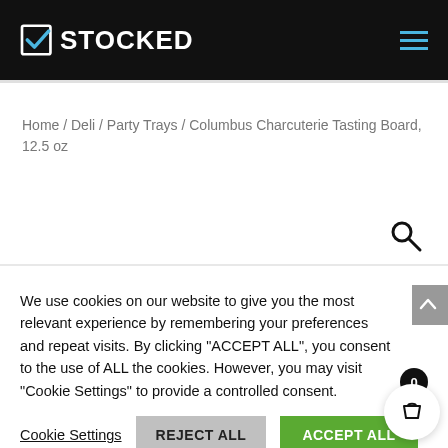STOCKED
Home / Deli / Party Trays / Columbus Charcuterie Tasting Board, 12.5 oz
We use cookies on our website to give you the most relevant experience by remembering your preferences and repeat visits. By clicking "ACCEPT ALL", you consent to the use of ALL the cookies. However, you may visit "Cookie Settings" to provide a controlled consent.
Cookie Settings   REJECT ALL   ACCEPT ALL